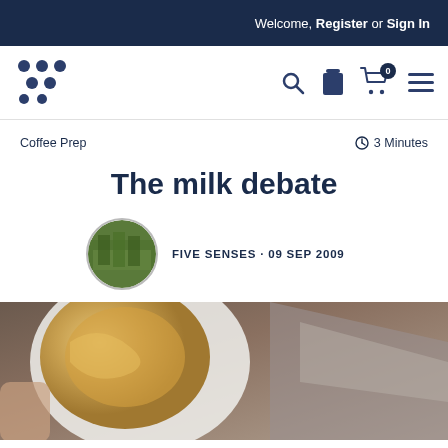Welcome, Register or Sign In
[Figure (logo): Five Senses Coffee logo made of dots]
[Figure (infographic): Navigation icons: search, milk jug, shopping cart (0), hamburger menu]
Coffee Prep
3 Minutes
The milk debate
[Figure (photo): Circular avatar photo showing green coffee plants/tea plantation]
FIVE SENSES · 09 Sep 2009
[Figure (photo): Hero image: close-up of a white coffee cup with golden crema latte art]